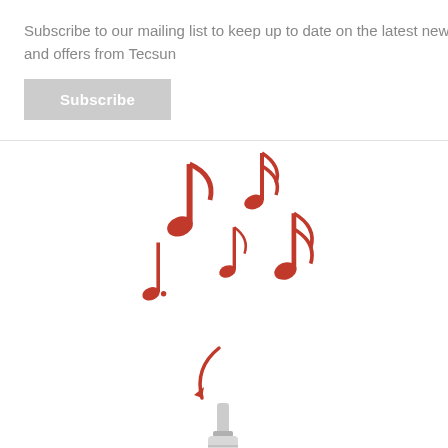Subscribe to our mailing list to keep up to date on the latest news and offers from Tecsun
Subscribe
[Figure (illustration): Red musical notes scattered floating upward]
[Figure (illustration): White 3.5mm audio jack connector with knurled grip, with a red curved arrow above it indicating insertion or rotation]